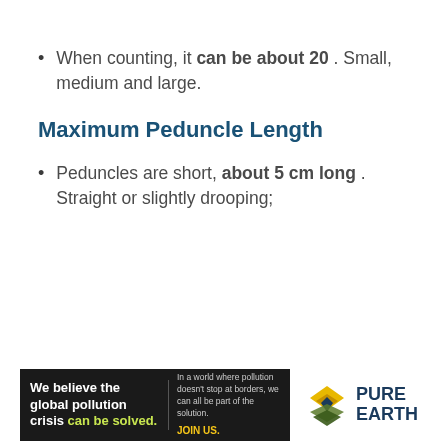When counting, it can be about 20. Small, medium and large.
Maximum Peduncle Length
Peduncles are short, about 5 cm long. Straight or slightly drooping;
[Figure (infographic): Pure Earth advertisement banner: black background with text 'We believe the global pollution crisis can be solved.' and 'In a world where pollution doesn't stop at borders, we can all be part of the solution. JOIN US.' alongside the Pure Earth logo.]